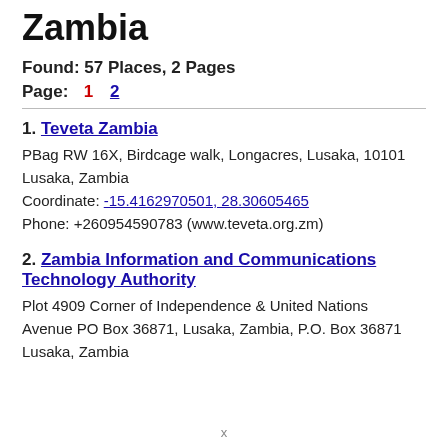Zambia
Found: 57 Places, 2 Pages
Page: 1 2
1. Teveta Zambia
PBag RW 16X, Birdcage walk, Longacres, Lusaka, 10101
Lusaka, Zambia
Coordinate: -15.4162970501, 28.30605465
Phone: +260954590783 (www.teveta.org.zm)
2. Zambia Information and Communications Technology Authority
Plot 4909 Corner of Independence & United Nations Avenue PO Box 36871, Lusaka, Zambia, P.O. Box 36871
Lusaka, Zambia
x